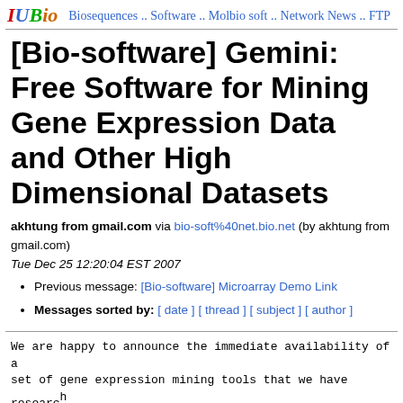IUBio | Biosequences .. Software .. Molbio soft .. Network News .. FTP
[Bio-software] Gemini: Free Software for Mining Gene Expression Data and Other High Dimensional Datasets
akhtung from gmail.com via bio-soft%40net.bio.net (by akhtung from gmail.com)
Tue Dec 25 12:20:04 EST 2007
Previous message: [Bio-software] Microarray Demo Link
Messages sorted by: [ date ] [ thread ] [ subject ] [ author ]
We are happy to announce the immediate availability of a set of gene expression mining tools that we have research